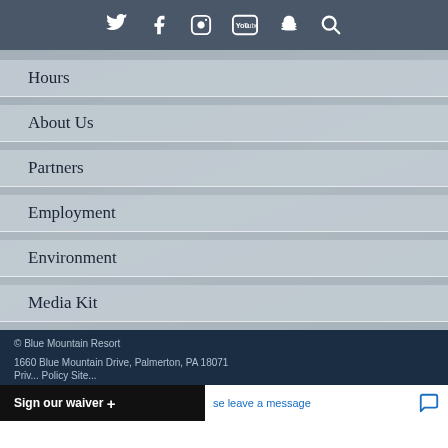Social media icons: Twitter, Facebook, Instagram, YouTube, Snapchat, Search
Hours
About Us
Partners
Employment
Environment
Media Kit
Web Accessibility Statement
© Blue Mountain Resort
1660 Blue Mountain Drive, Palmerton, PA 18071
Privacy Policy   Site...
Sign our waiver +
se leave a message